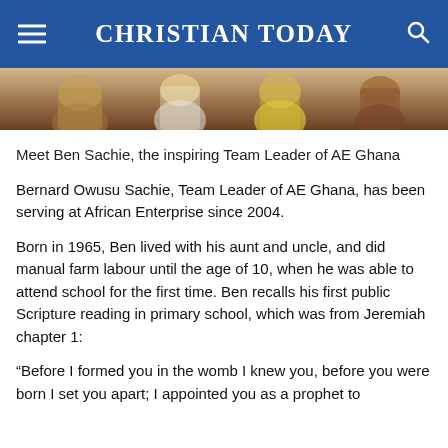CHRISTIAN TODAY
[Figure (photo): Cropped photo showing people standing together, partially visible from torso down, wearing colorful clothing]
Meet Ben Sachie, the inspiring Team Leader of AE Ghana
Bernard Owusu Sachie, Team Leader of AE Ghana, has been serving at African Enterprise since 2004.
Born in 1965, Ben lived with his aunt and uncle, and did manual farm labour until the age of 10, when he was able to attend school for the first time. Ben recalls his first public Scripture reading in primary school, which was from Jeremiah chapter 1:
“Before I formed you in the womb I knew you, before you were born I set you apart; I appointed you as a prophet to